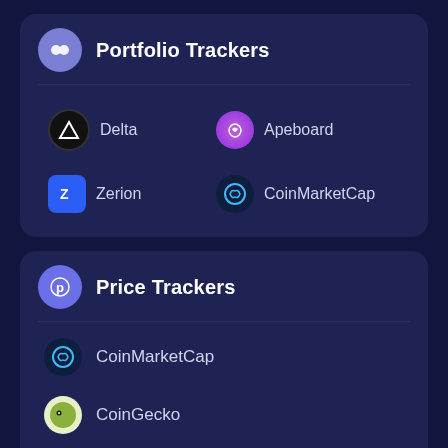Portfolio Trackers
Delta
Apeboard
Zerion
CoinMarketCap
Price Trackers
CoinMarketCap
CoinGecko
Dexscreener
Chain Debrief Pulse